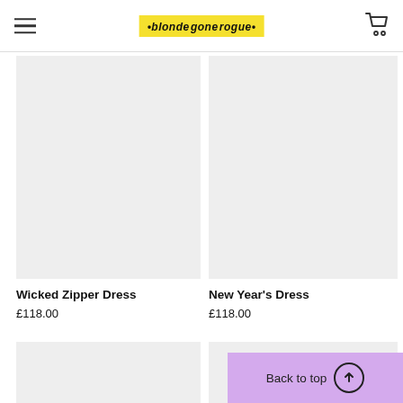blonde gone rogue
[Figure (photo): Product image placeholder for Wicked Zipper Dress (light grey background)]
Wicked Zipper Dress
£118.00
[Figure (photo): Product image placeholder for New Year's Dress (light grey background)]
New Year's Dress
£118.00
[Figure (photo): Product image placeholder bottom left (light grey background, partially visible)]
[Figure (photo): Product image placeholder bottom right (light grey background, partially visible)]
Back to top